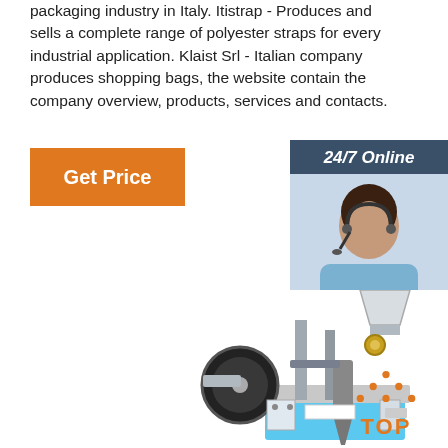packaging industry in Italy. Itistrap - Produces and sells a complete range of polyester straps for every industrial application. Klaist Srl - Italian company produces shopping bags, the website contain the company overview, products, services and contacts.
[Figure (other): Orange 'Get Price' button]
[Figure (other): Sidebar with '24/7 Online' header, customer service representative photo, 'Click here for free chat!' text, and orange 'QUOTATION' button]
[Figure (photo): Industrial packaging machine with mechanical components, reels, and dispensing mechanism]
[Figure (other): Orange 'TOP' icon with dots arranged in triangle shape above the text]